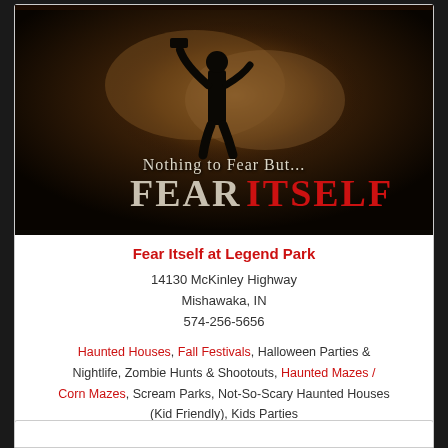[Figure (photo): Horror movie promotional image with dark background, a silhouetted figure holding an axe, smoke/explosion effect, text reading 'Nothing to Fear But... FEAR ITSELF' where FEAR is in white/gray and ITSELF is in red]
Fear Itself at Legend Park
14130 McKinley Highway
Mishawaka, IN
574-256-5656
Haunted Houses, Fall Festivals, Halloween Parties & Nightlife, Zombie Hunts & Shootouts, Haunted Mazes / Corn Mazes, Scream Parks, Not-So-Scary Haunted Houses (Kid Friendly), Kids Parties